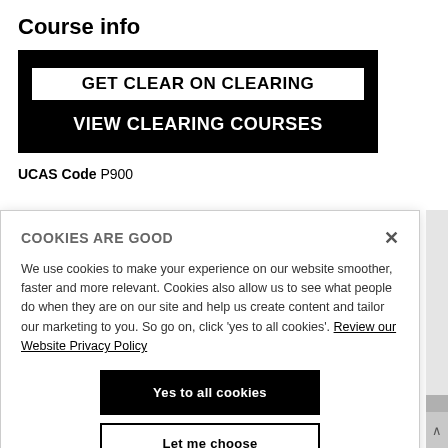Course info
[Figure (screenshot): Black banner with 'GET CLEAR ON CLEARING' in white box and 'VIEW CLEARING COURSES' in white text below]
UCAS Code P900
COOKIES ARE GOOD
We use cookies to make your experience on our website smoother, faster and more relevant. Cookies also allow us to see what people do when they are on our site and help us create content and tailor our marketing to you. So go on, click 'yes to all cookies'. Review our Website Privacy Policy
Yes to all cookies
Let me choose